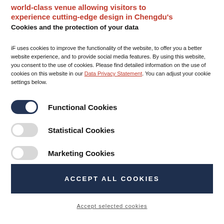world-class venue allowing visitors to experience cutting-edge design in Chengdu's
Cookies and the protection of your data
iF uses cookies to improve the functionality of the website, to offer you a better website experience, and to provide social media features. By using this website, you consent to the use of cookies. Please find detailed information on the use of cookies on this website in our Data Privacy Statement. You can adjust your cookie settings below.
Functional Cookies (toggle on)
Statistical Cookies (toggle off)
Marketing Cookies (toggle off)
ACCEPT ALL COOKIES
Accept selected cookies